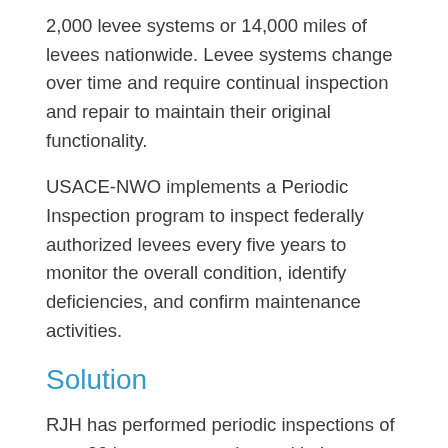2,000 levee systems or 14,000 miles of levees nationwide. Levee systems change over time and require continual inspection and repair to maintain their original functionality.
USACE-NWO implements a Periodic Inspection program to inspect federally authorized levees every five years to monitor the overall condition, identify deficiencies, and confirm maintenance activities.
Solution
RJH has performed periodic inspections of over 20 levee systems located in Iowa, Montana, Nebraska, and South Dakota.  The system includes over 60 miles